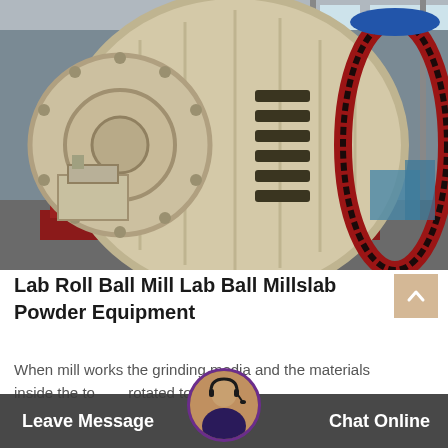[Figure (photo): Industrial ball mill machine in a factory/warehouse setting. Large cream/beige colored cylindrical grinding mill with red ring gear on the right side, mounted on a red base frame. The mill has a ribbed cylindrical body with access panels. A motor and gearbox assembly is visible on the left side. Industrial facility with steel structure visible in background.]
Lab Roll Ball Mill Lab Ball Millslab Powder Equipment
When mill works the grinding media and the materials inside the to rotated to a certain grav fall do
Leave Message   Chat Online